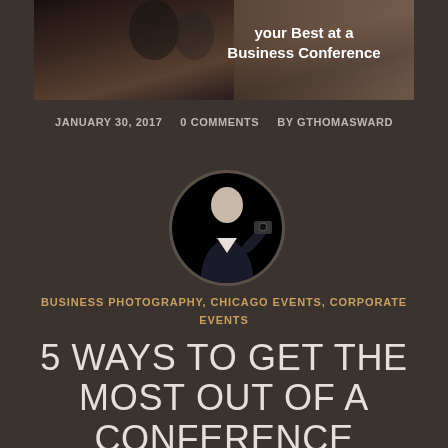[Figure (photo): Top banner image showing women at a business conference with overlay text 'your Best at a Business Conference']
JANUARY 30, 2017   0 COMMENTS   BY GTHOMASWARD
[Figure (photo): Circular profile photo of a man in a suit holding a camera]
BUSINESS PHOTOGRAPHY, CHICAGO EVENTS, CORPORATE EVENTS
5 WAYS TO GET THE MOST OUT OF A CONFERENCE